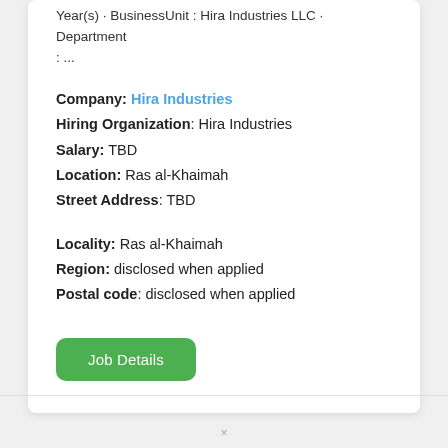Year(s) · BusinessUnit : Hira Industries LLC · Department : ...
Company: Hira Industries
Hiring Organization: Hira Industries
Salary: TBD
Location: Ras al-Khaimah
Street Address: TBD
Locality: Ras al-Khaimah
Region: disclosed when applied
Postal code: disclosed when applied
[Figure (other): Green 'Job Details' button]
×